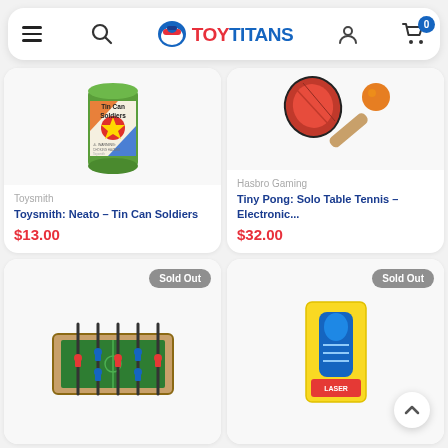TOY TITANS navigation bar with hamburger menu, search, logo, user icon, cart (0)
[Figure (photo): Toysmith Neato Tin Can Soldiers product image - green metal tin with orange and blue label]
Toysmith
Toysmith: Neato – Tin Can Soldiers
$13.00
[Figure (photo): Tiny Pong Solo Table Tennis product image - ping pong paddle and orange ball]
Hasbro Gaming
Tiny Pong: Solo Table Tennis – Electronic...
$32.00
[Figure (photo): Foosball table mini product image - Sold Out]
[Figure (photo): Toy item in yellow packaging - Sold Out]